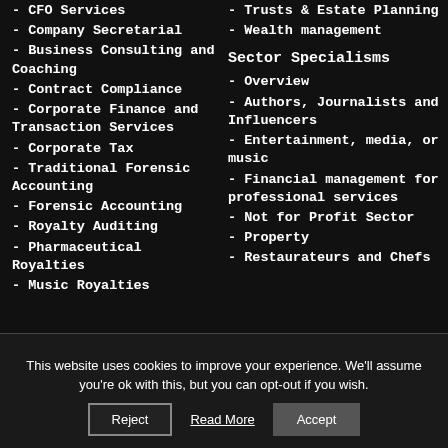- CFO Services
- Company Secretarial
- Business Consulting and Coaching
- Contract Compliance
- Corporate Finance and Transaction Services
- Corporate Tax
- Traditional Forensic Accounting
- Forensic Accounting
- Royalty Auditing
- Pharmaceutical Royalties
- Music Royalties
- Trusts & Estate Planning
- Wealth management
Sector Specialisms
- Overview
- Authors, Journalists and Influencers
- Entertainment, media, or music
- Financial management for professional services
- Not for Profit Sector
- Property
- Restaurateurs and Chefs
This website uses cookies to improve your experience. We'll assume you're ok with this, but you can opt-out if you wish.
Accept | Reject | Read More